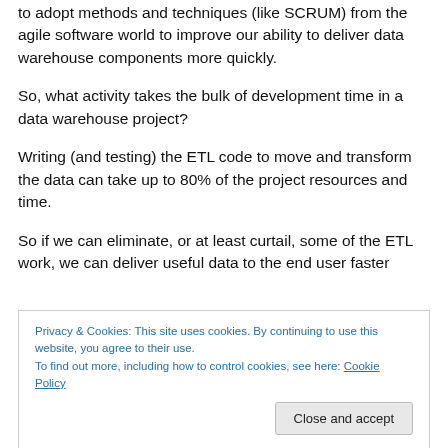to adopt methods and techniques (like SCRUM) from the agile software world to improve our ability to deliver data warehouse components more quickly.
So, what activity takes the bulk of development time in a data warehouse project?
Writing (and testing) the ETL code to move and transform the data can take up to 80% of the project resources and time.
So if we can eliminate, or at least curtail, some of the ETL work, we can deliver useful data to the end user faster
Privacy & Cookies: This site uses cookies. By continuing to use this website, you agree to their use.
To find out more, including how to control cookies, see here: Cookie Policy
modeled EDW.